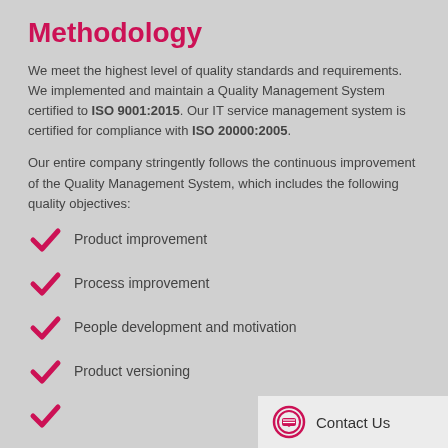Methodology
We meet the highest level of quality standards and requirements. We implemented and maintain a Quality Management System certified to ISO 9001:2015. Our IT service management system is certified for compliance with ISO 20000:2005.
Our entire company stringently follows the continuous improvement of the Quality Management System, which includes the following quality objectives:
Product improvement
Process improvement
People development and motivation
Product versioning
Contact Us